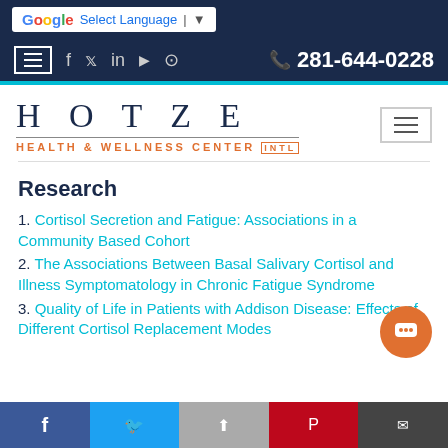Google Select Language | Hotze Health & Wellness Center INTL | 281-644-0228
[Figure (logo): Hotze Health & Wellness Center INTL logo]
Research
1. Cortisol Secretion and Fatigue: Associations in a Community Based Cohort
2. The Associations Between Basal Salivary Cortisol and Illness Symptomatology in Chronic Fatigue Syndrome
3. Quality of Life in Patients with Addison Disease: Effects of Different Cortisol Replacement Modes
Social share buttons: Facebook, Twitter, Share, Pinterest, Email